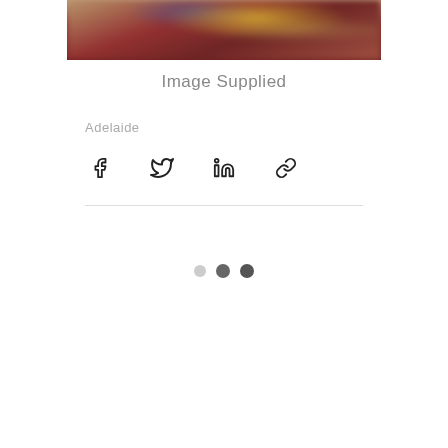[Figure (photo): Blurred/cropped photo of colorful objects including yellow and red items on a dark red background, only bottom portion visible]
Image Supplied
Adelaide
[Figure (infographic): Social share icons: Facebook, Twitter, LinkedIn, and link/chain icon]
[Figure (infographic): Pagination dots: three dots indicating a slideshow/carousel position, first dot lighter, second and third darker]